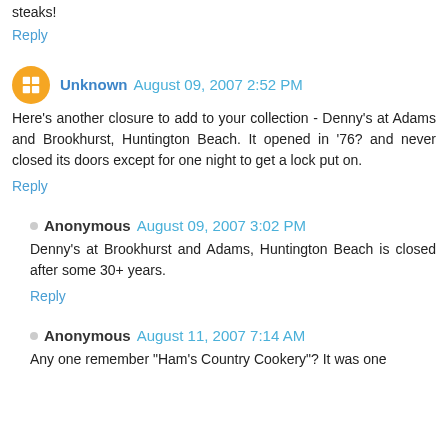steaks!
Reply
Unknown  August 09, 2007 2:52 PM
Here's another closure to add to your collection - Denny's at Adams and Brookhurst, Huntington Beach. It opened in '76? and never closed its doors except for one night to get a lock put on.
Reply
Anonymous  August 09, 2007 3:02 PM
Denny's at Brookhurst and Adams, Huntington Beach is closed after some 30+ years.
Reply
Anonymous  August 11, 2007 7:14 AM
Any one remember "Ham's Country Cookery"? It was one